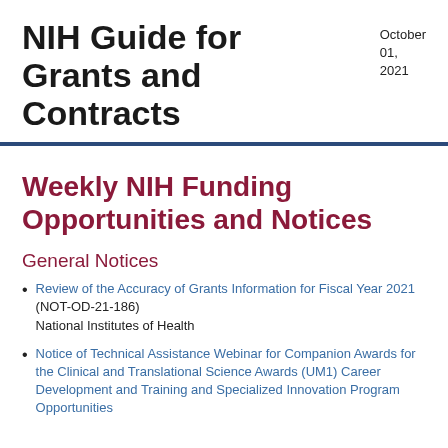NIH Guide for Grants and Contracts
October 01, 2021
Weekly NIH Funding Opportunities and Notices
General Notices
Review of the Accuracy of Grants Information for Fiscal Year 2021
(NOT-OD-21-186)
National Institutes of Health
Notice of Technical Assistance Webinar for Companion Awards for the Clinical and Translational Science Awards (UM1) Career Development and Training and Specialized Innovation Program Opportunities